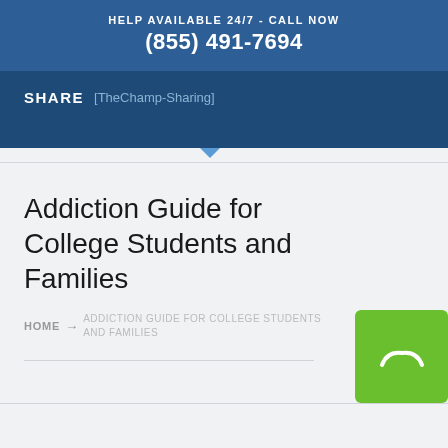HELP AVAILABLE 24/7 - CALL NOW (855) 491-7694
SHARE [TheChamp-Sharing]
Addiction Guide for College Students and Families
HOME → ADDICTION GUIDE FOR COLLEGE STUDENTS AND FAMILIES
[Figure (other): Green rounded square button with a white chat/tilde icon]